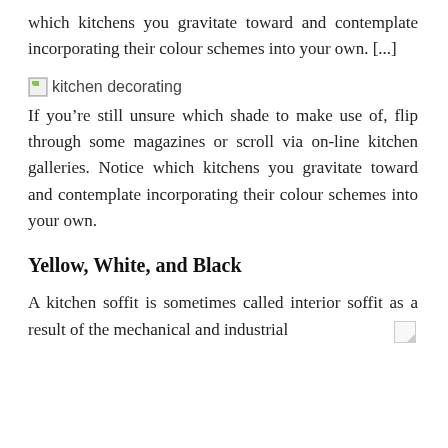which kitchens you gravitate toward and contemplate incorporating their colour schemes into your own. [...]
[Figure (photo): Broken image placeholder with alt text 'kitchen decorating']
If you’re still unsure which shade to make use of, flip through some magazines or scroll via on-line kitchen galleries. Notice which kitchens you gravitate toward and contemplate incorporating their colour schemes into your own.
Yellow, White, and Black
A kitchen soffit is sometimes called interior soffit as a result of the mechanical and industrial